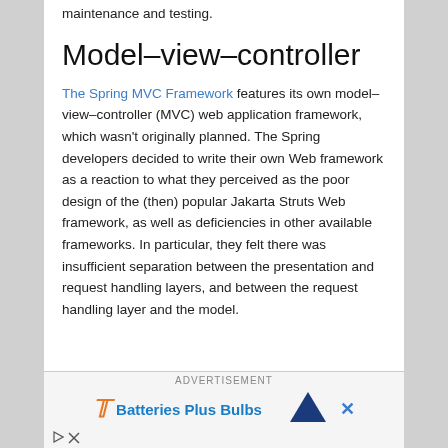maintenance and testing.
Model–view–controller
The Spring MVC Framework features its own model–view–controller (MVC) web application framework, which wasn't originally planned. The Spring developers decided to write their own Web framework as a reaction to what they perceived as the poor design of the (then) popular Jakarta Struts Web framework, as well as deficiencies in other available frameworks. In particular, they felt there was insufficient separation between the presentation and request handling layers, and between the request handling layer and the model.
ADVERTISEMENT
Batteries Plus Bulbs